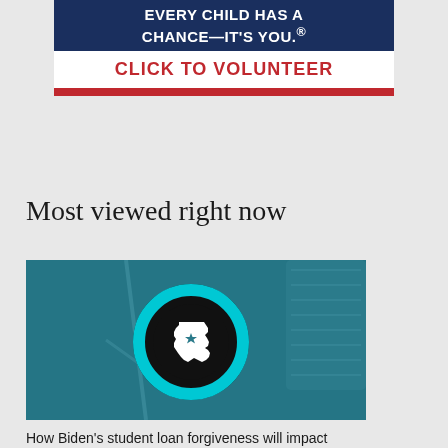[Figure (infographic): Advertisement banner with dark blue background reading 'EVERY CHILD HAS A CHANCE—IT'S YOU.®' in white bold text, followed by a white section with red bold text 'CLICK TO VOLUNTEER', and a red bar at the bottom.]
Most viewed right now
[Figure (photo): Article thumbnail showing a teal-tinted image of a microphone with a black circle containing a cyan ring and white Texas state silhouette icon in the center.]
How Biden's student loan forgiveness will impact Texans